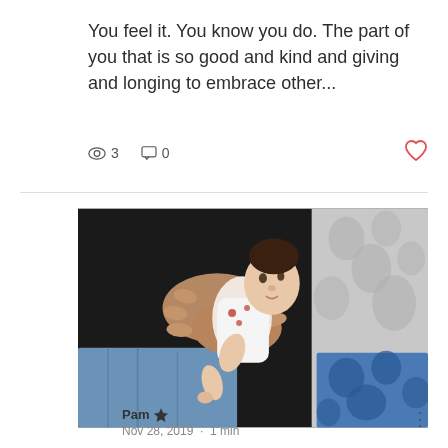You feel it. You know you do. The part of you that is so good and kind and giving and longing to embrace other...
👁 3   💬 0   ♡
[Figure (photo): A newborn baby being held by adult hands, wearing a white onesie with red accents, lying against a dark background with a patterned fabric visible on the right side.]
Pam 👑
Nov 28, 2019 · 1 min